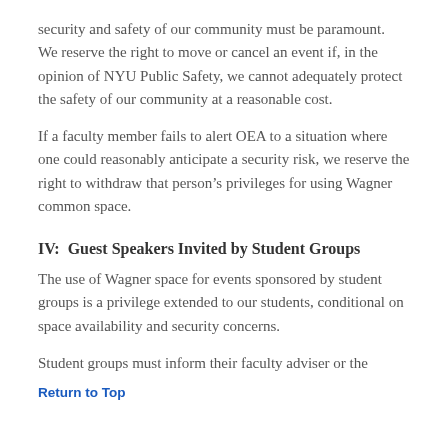security and safety of our community must be paramount.  We reserve the right to move or cancel an event if, in the opinion of NYU Public Safety, we cannot adequately protect the safety of our community at a reasonable cost.
If a faculty member fails to alert OEA to a situation where one could reasonably anticipate a security risk, we reserve the right to withdraw that person's privileges for using Wagner common space.
IV:  Guest Speakers Invited by Student Groups
The use of Wagner space for events sponsored by student groups is a privilege extended to our students, conditional on space availability and security concerns.
Student groups must inform their faculty adviser or the
Return to Top